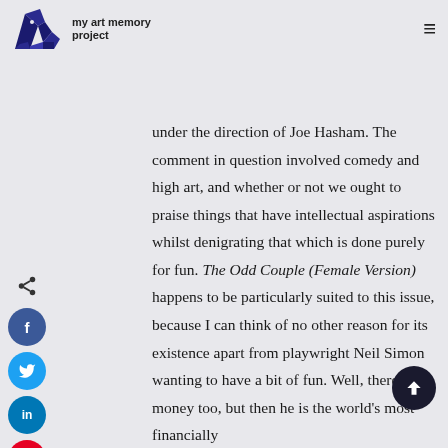art memory project
(Female Version), which ... the Actors Studio Bangkok under the direction of Joe Hasham. The comment in question involved comedy and high art, and whether or not we ought to praise things that have intellectual aspirations whilst denigrating that which is done purely for fun. The Odd Couple (Female Version) happens to be particularly suited to this issue, because I can think of no other reason for its existence apart from playwright Neil Simon wanting to have a bit of fun. Well, there's money too, but then he is the world's most financially
[Figure (other): Social media sharing sidebar with share icon, Facebook, Twitter, LinkedIn, Pinterest, and WhatsApp buttons]